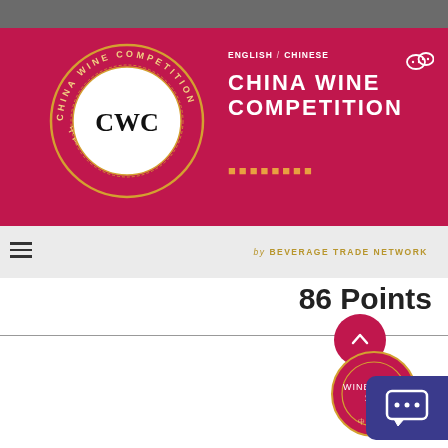[Figure (logo): China Wine Competition website screenshot showing CWC logo circle, banner with title, points score, silver medal badge, and navigation elements]
CHINA WINE COMPETITION
ENGLISH / CHINESE
by BEVERAGE TRADE NETWORK
86 Points
Silver